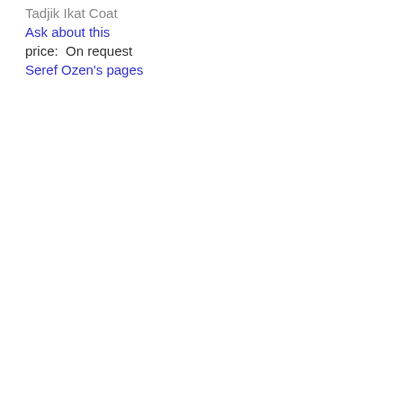Tadjik Ikat Coat
Ask about this
price:  On request
Seref Ozen's pages